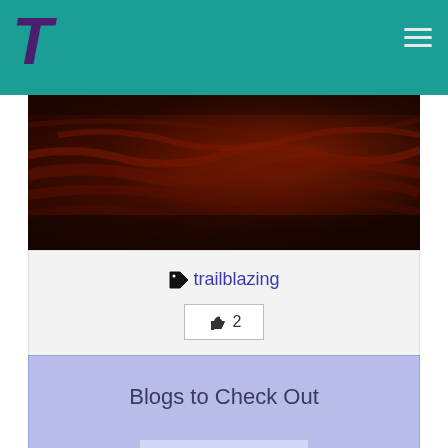T (logo) — navigation bar with hamburger menu
[Figure (photo): Dark reddish-brown rocky terrain texture, appearing like crumpled red rock or clay landscape]
🏷 trailblazing
👍 2
Blogs to Check Out
About Trailblazing